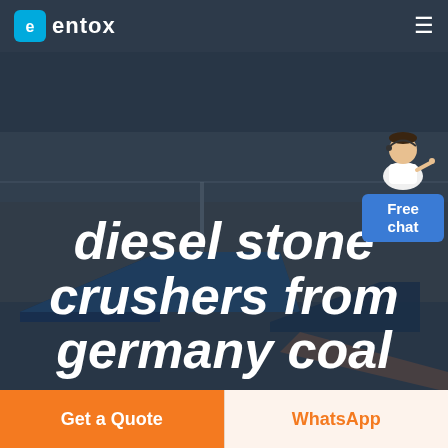entox
[Figure (photo): Aerial view of an industrial facility with large blue warehouse/factory buildings surrounded by open land, used as hero background image]
diesel stone crushers from germany coal
[Figure (illustration): Customer service avatar - person in white shirt with headset, pointing, above a blue 'Free chat' button]
Get a Quote
WhatsApp